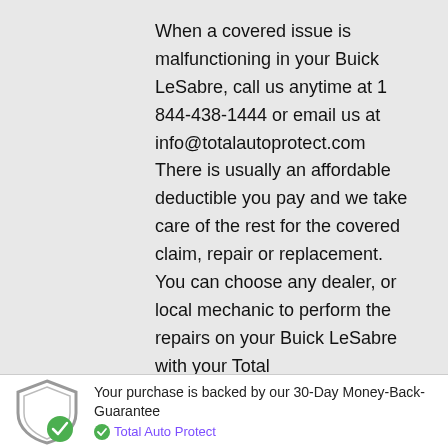When a covered issue is malfunctioning in your Buick LeSabre, call us anytime at 1 844-438-1444 or email us at info@totalautoprotect.com

There is usually an affordable deductible you pay and we take care of the rest for the covered claim, repair or replacement.

You can choose any dealer, or local mechanic to perform the repairs on your Buick LeSabre with your Total
Your purchase is backed by our 30-Day Money-Back-Guarantee
Total Auto Protect